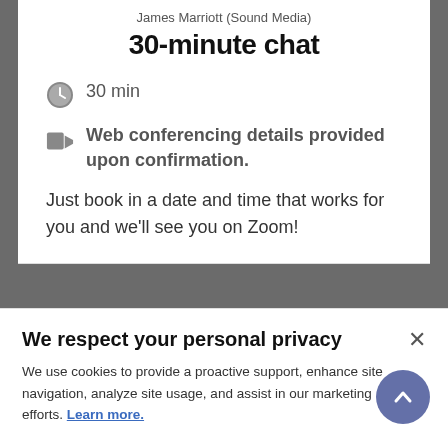James Marriott (Sound Media)
30-minute chat
30 min
Web conferencing details provided upon confirmation.
Just book in a date and time that works for you and we'll see you on Zoom!
We respect your personal privacy
We use cookies to provide a proactive support, enhance site navigation, analyze site usage, and assist in our marketing efforts. Learn more.